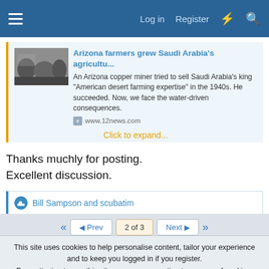Log in  Register
[Figure (screenshot): Link card preview image showing a black and white photo of people in a field]
Arizona farmers grew Saudi Arabia's agricultu...
An Arizona copper miner tried to sell Saudi Arabia's king "American desert farming expertise" in the 1940s. He succeeded. Now, we face the water-driven consequences.
www.12news.com
Click to expand...
Thanks muchly for posting.
Excellent discussion.
Bill Sampson and scubatim
2 of 3
This site uses cookies to help personalise content, tailor your experience and to keep you logged in if you register.
By continuing to use this site, you are consenting to our use of cookies.